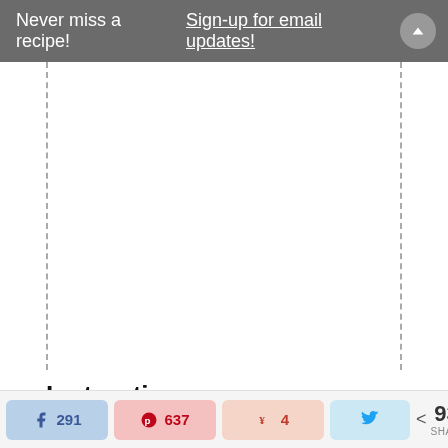Never miss a recipe! Sign-up for email updates!
[Figure (other): Large empty white rectangular area bounded by dashed left and right borders, representing a recipe image placeholder]
Instructions
Preheat oven to 350 degrees and line a 9X13 inch casserole dish with parchment paper and lightly grease the sides of the pan. (I use
291 (Facebook) 637 (Pinterest) 4 (Yummly) (Twitter) < 932 SHARES